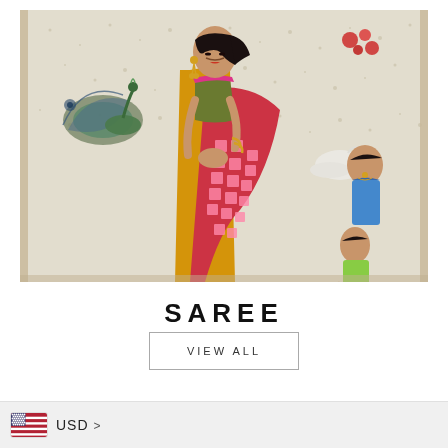[Figure (photo): Fashion photograph of a woman wearing a yellow and red patterned saree with pink square designs, standing in front of a decorative wall mural featuring traditional Indian art with peacocks, swans, and figures of women]
SAREE
VIEW ALL
USD >